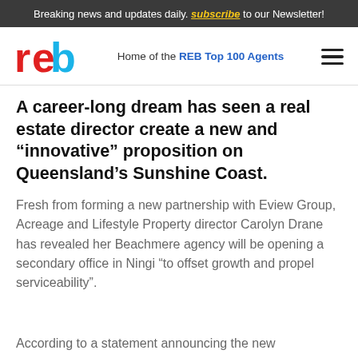Breaking news and updates daily. subscribe to our Newsletter!
[Figure (logo): REB logo - red and blue letters 'reb']
Home of the REB Top 100 Agents
A career-long dream has seen a real estate director create a new and “innovative” proposition on Queensland’s Sunshine Coast.
Fresh from forming a new partnership with Eview Group, Acreage and Lifestyle Property director Carolyn Drane has revealed her Beachmere agency will be opening a secondary office in Ningi “to offset growth and propel serviceability”.
According to a statement announcing the new